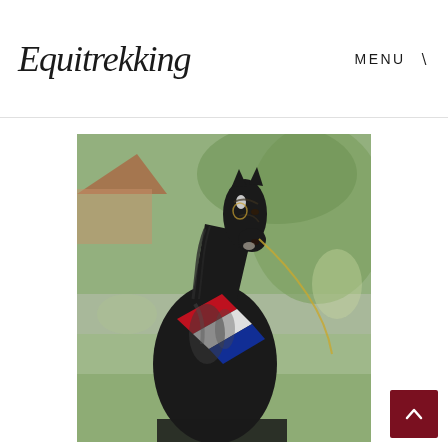Equitrekking   MENU
[Figure (photo): A black horse wearing a red, white, and blue sash/ribbon around its neck, with a bridle and lead chain, posed outdoors in front of green trees and a building in the background.]